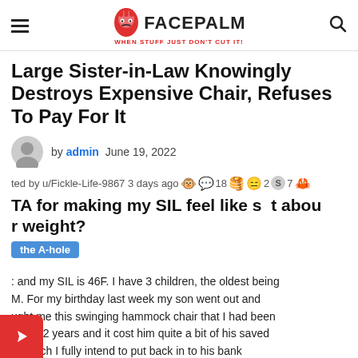FACEPALM — WHEN STUFF JUST DON'T CUT IT!
Large Sister-in-Law Knowingly Destroys Expensive Chair, Refuses To Pay For It
by admin  June 19, 2022
ted by u/Fickle-Life-9867 3 days ago 🐵 💬18 🥞 😑2 🅢7 🦀
TA for making my SIL feel like s t abou r weight?
the A-hole
: and my SIL is 46F. I have 3 children, the oldest being M. For my birthday last week my son went out and ught me this swinging hammock chair that I had been ng for 2 years and it cost him quite a bit of his saved y (which I fully intend to put back in to his bank